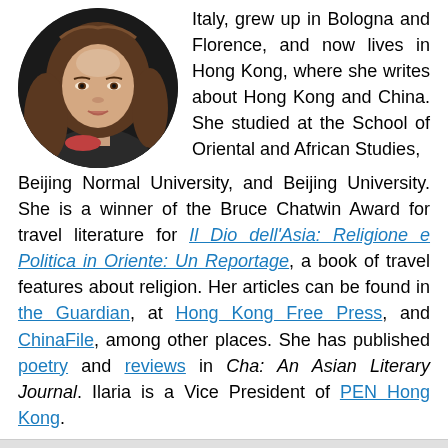[Figure (photo): Circular cropped headshot photo of a young woman with long brown hair against a dark background]
Italy, grew up in Bologna and Florence, and now lives in Hong Kong, where she writes about Hong Kong and China. She studied at the School of Oriental and African Studies, Beijing Normal University, and Beijing University. She is a winner of the Bruce Chatwin Award for travel literature for Il Dio dell'Asia: Religione e Politica in Oriente: Un Reportage, a book of travel features about religion. Her articles can be found in the Guardian, at Hong Kong Free Press, and ChinaFile, among other places. She has published poetry and reviews in Cha: An Asian Literary Journal. Ilaria is a Vice President of PEN Hong Kong.